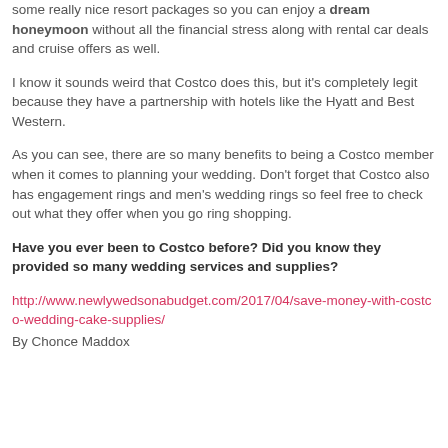some really nice resort packages so you can enjoy a dream honeymoon without all the financial stress along with rental car deals and cruise offers as well.
I know it sounds weird that Costco does this, but it's completely legit because they have a partnership with hotels like the Hyatt and Best Western.
As you can see, there are so many benefits to being a Costco member when it comes to planning your wedding. Don't forget that Costco also has engagement rings and men's wedding rings so feel free to check out what they offer when you go ring shopping.
Have you ever been to Costco before? Did you know they provided so many wedding services and supplies?
http://www.newlywedsonabudget.com/2017/04/save-money-with-costco-wedding-cake-supplies/
By Chonce Maddox